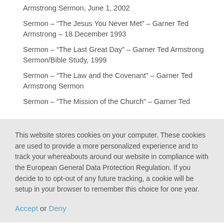Armstrong Sermon, June 1, 2002
Sermon – “The Jesus You Never Met” – Garner Ted Armstrong – 18 December 1993
Sermon – “The Last Great Day” – Garner Ted Armstrong Sermon/Bible Study, 1999
Sermon – “The Law and the Covenant” – Garner Ted Armstrong Sermon
Sermon – “The Mission of the Church” – Garner Ted
This website stores cookies on your computer. These cookies are used to provide a more personalized experience and to track your whereabouts around our website in compliance with the European General Data Protection Regulation. If you decide to to opt-out of any future tracking, a cookie will be setup in your browser to remember this choice for one year.
Accept or Deny